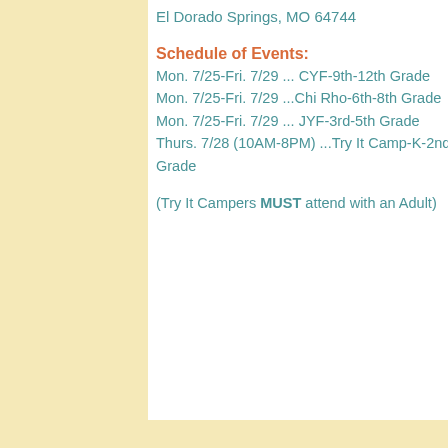El Dorado Springs, MO 64744
Schedule of Events:
Mon. 7/25-Fri. 7/29 ... CYF-9th-12th Grade
Mon. 7/25-Fri. 7/29 ...Chi Rho-6th-8th Grade
Mon. 7/25-Fri. 7/29 ... JYF-3rd-5th Grade
Thurs. 7/28 (10AM-8PM) ...Try It Camp-K-2nd Grade
(Try It Campers MUST attend with an Adult)